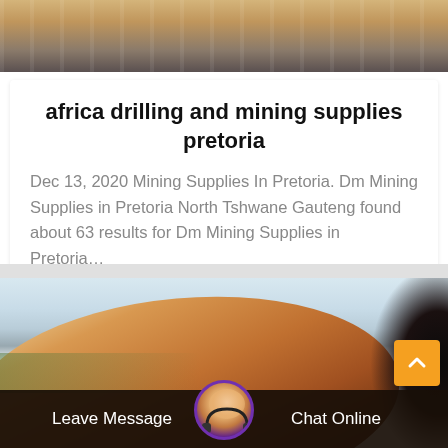[Figure (photo): Top partial photo showing industrial/mining equipment with wooden/yellow structures against a dark background]
africa drilling and mining supplies pretoria
Dec 13, 2020 Mining Supplies In Pretoria. Dm Mining Supplies in Pretoria North Tshwane Gauteng found about 63 results for Dm Mining Supplies in Pretoria…
[Figure (photo): Large industrial mining drum/cylinder equipment, copper/orange colored, photographed outdoors, with a customer service chat bar overlay at the bottom showing Leave Message and Chat Online buttons with a headset avatar]
Leave Message
Chat Online